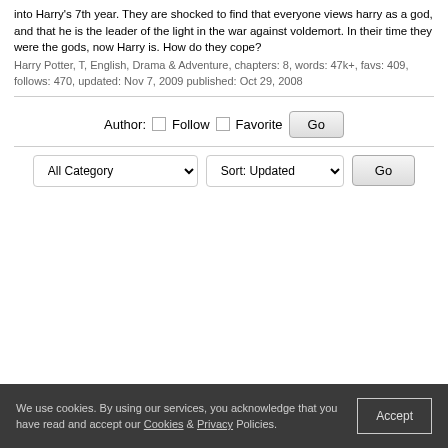into Harry's 7th year. They are shocked to find that everyone views harry as a god, and that he is the leader of the light in the war against voldemort. In their time they were the gods, now Harry is. How do they cope?
Harry Potter, T, English, Drama & Adventure, chapters: 8, words: 47k+, favs: 409, follows: 470, updated: Nov 7, 2009 published: Oct 29, 2008
Author: Follow Favorite Go
All Category Sort: Updated Go
We use cookies. By using our services, you acknowledge that you have read and accept our Cookies & Privacy Policies. Accept